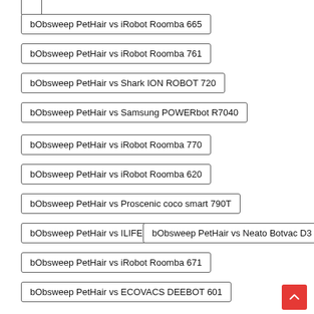bObsweep PetHair vs iRobot Roomba 665
bObsweep PetHair vs iRobot Roomba 761
bObsweep PetHair vs Shark ION ROBOT 720
bObsweep PetHair vs Samsung POWERbot R7040
bObsweep PetHair vs iRobot Roomba 770
bObsweep PetHair vs iRobot Roomba 620
bObsweep PetHair vs Proscenic coco smart 790T
bObsweep PetHair vs ILIFE A6
bObsweep PetHair vs Neato Botvac D3
bObsweep PetHair vs iRobot Roomba 671
bObsweep PetHair vs ECOVACS DEEBOT 601